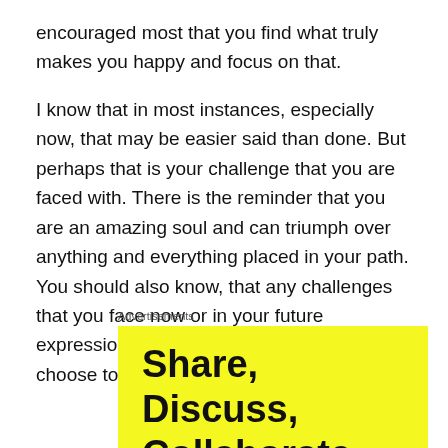encouraged most that you find what truly makes you happy and focus on that.
I know that in most instances, especially now, that may be easier said than done. But perhaps that is your challenge that you are faced with. There is the reminder that you are an amazing soul and can triumph over anything and everything placed in your path. You should also know, that any challenges that you face now or in your future expression of time, is available for you to choose to rise above and conquer.
Advertisements
[Figure (other): Advertisement banner with bright yellow background displaying bold black text: 'Share, Discuss, Collaborate,']